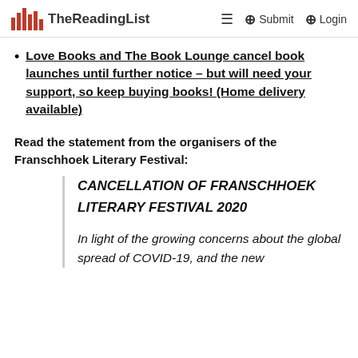TheReadingList | ≡ ⊕ Submit ⊕ Login
Love Books and The Book Lounge cancel book launches until further notice – but will need your support, so keep buying books! (Home delivery available)
Read the statement from the organisers of the Franschhoek Literary Festival:
CANCELLATION OF FRANSCHHOEK LITERARY FESTIVAL 2020
In light of the growing concerns about the global spread of COVID-19, and the new